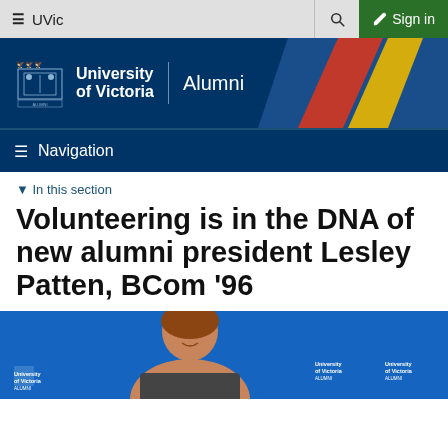UVic  Sign in
[Figure (screenshot): University of Victoria Alumni banner with blue background, UVic crest, diagonal red/yellow/blue stripes on right side]
Navigation
In this section
Volunteering is in the DNA of new alumni president Lesley Patten, BCom '96
[Figure (photo): Woman with brown hair smiling in front of University of Victoria Alumni banner backdrop with repeated UVic logos]